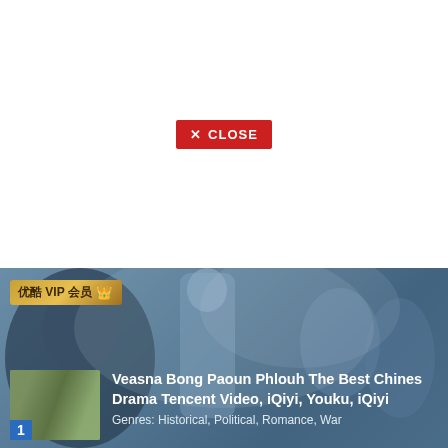[Figure (screenshot): White area with a red CLOSE button (× CLOSE) centered in the upper portion of the page, representing a dismissible ad overlay or modal close button.]
[Figure (photo): Chinese historical drama promotional image with figures in traditional robes against a blue-tinted background. 优酷 VIP会员 badge in gold at top left. Bottom shows a thumbnail card with title 'Veasna Bong Paoun Phlouh The Best Chines Drama Tencent Video, iQiyi, Youku, iQiyi' and genre text 'Genres: Historical, Political, Romance, War'. Number 1 badge in blue at bottom-left of thumbnail.]